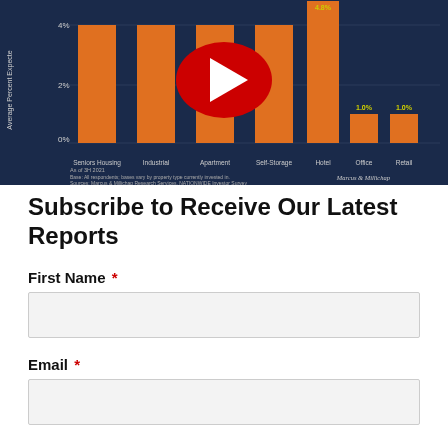[Figure (bar-chart): Average Percent Expected]
Subscribe to Receive Our Latest Reports
First Name *
Email *